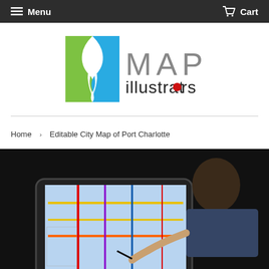Menu   Cart
[Figure (logo): MAP illustrators logo with green and blue profile face icon and MAP illustrators text]
Home  >  Editable City Map of Port Charlotte
[Figure (photo): Person drawing on a digital tablet displaying a colorful city map, working in a dark studio setting]